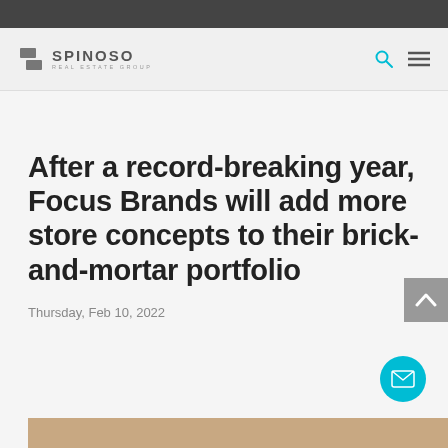Spinoso Real Estate Group
After a record-breaking year, Focus Brands will add more store concepts to their brick-and-mortar portfolio
Thursday, Feb 10, 2022